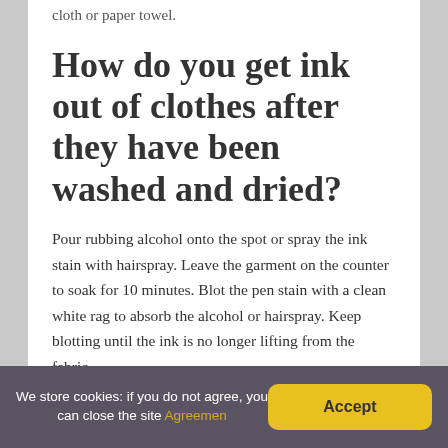cloth or paper towel.
How do you get ink out of clothes after they have been washed and dried?
Pour rubbing alcohol onto the spot or spray the ink stain with hairspray. Leave the garment on the counter to soak for 10 minutes. Blot the pen stain with a clean white rag to absorb the alcohol or hairspray. Keep blotting until the ink is no longer lifting from the fabric.
How do you remove
We store cookies: if you do not agree, you can close the site Agreemen